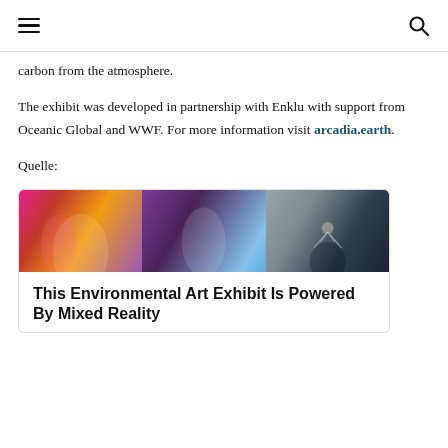≡  🔍
carbon from the atmosphere.
The exhibit was developed in partnership with Enklu with support from Oceanic Global and WWF. For more information visit arcadia.earth.
Quelle:
[Figure (photo): A horizontal strip of three photos showing mixed reality environmental art exhibits: people experiencing colorful immersive environments and a deer in a forest scene.]
This Environmental Art Exhibit Is Powered By Mixed Reality